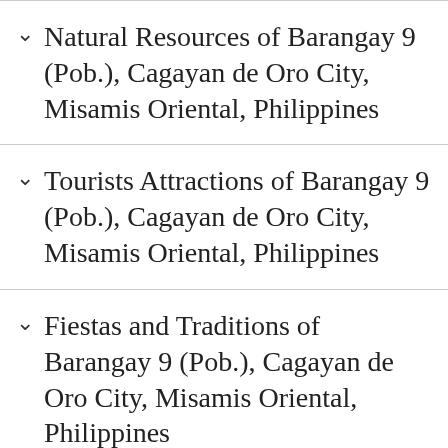Natural Resources of Barangay 9 (Pob.), Cagayan de Oro City, Misamis Oriental, Philippines
Tourists Attractions of Barangay 9 (Pob.), Cagayan de Oro City, Misamis Oriental, Philippines
Fiestas and Traditions of Barangay 9 (Pob.), Cagayan de Oro City, Misamis Oriental, Philippines
Your Story about Barangay 9 (Pob.),